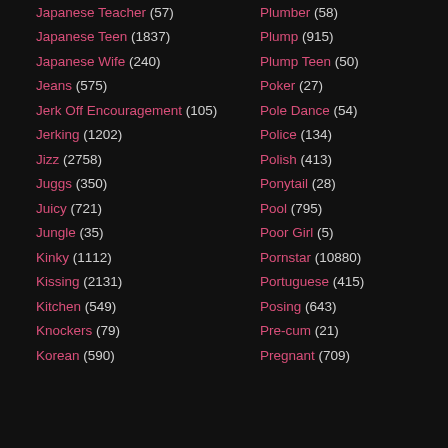Japanese Teacher (57)
Japanese Teen (1837)
Japanese Wife (240)
Jeans (575)
Jerk Off Encouragement (105)
Jerking (1202)
Jizz (2758)
Juggs (350)
Juicy (721)
Jungle (35)
Kinky (1112)
Kissing (2131)
Kitchen (549)
Knockers (79)
Korean (590)
Plumber (58)
Plump (915)
Plump Teen (50)
Poker (27)
Pole Dance (54)
Police (134)
Polish (413)
Ponytail (28)
Pool (795)
Poor Girl (5)
Pornstar (10880)
Portuguese (415)
Posing (643)
Pre-cum (21)
Pregnant (709)